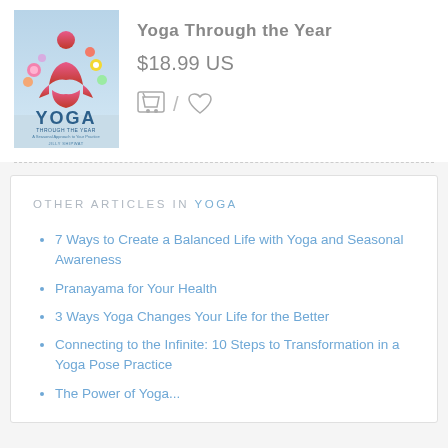[Figure (illustration): Book cover of 'Yoga Through the Year' by Jilly Shipwat, showing a meditating figure in lotus pose surrounded by colorful flowers]
Yoga Through the Year
$18.99 US
OTHER ARTICLES IN YOGA
7 Ways to Create a Balanced Life with Yoga and Seasonal Awareness
Pranayama for Your Health
3 Ways Yoga Changes Your Life for the Better
Connecting to the Infinite: 10 Steps to Transformation in a Yoga Pose Practice
The Power of Yoga...